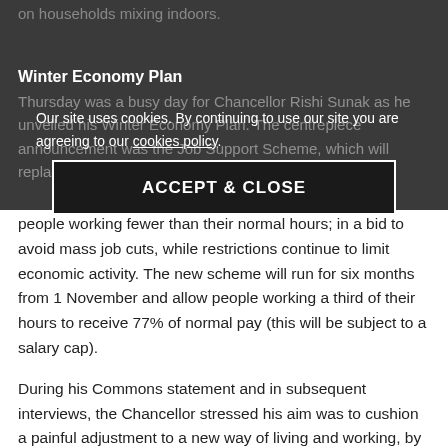on households mixing indoors.
Winter Economy Plan
Thursday was a busy day for Chancellor Rishi Sunak as he unveiled his Winter Economy Plan. The centrepiece announcement was the Job Support Scheme, which will replace furlough and see government top up the pay of people working fewer than their normal hours; in a bid to avoid mass job cuts, while restrictions continue to limit economic activity. The new scheme will run for six months from 1 November and allow people working a third of their hours to receive 77% of normal pay (this will be subject to a salary cap).
During his Commons statement and in subsequent interviews, the Chancellor stressed his aim was to cushion a painful adjustment to a new way of living and working, by providing a “more targeted” approach as the country enters “a different phase of this crisis.” He made it clear that the